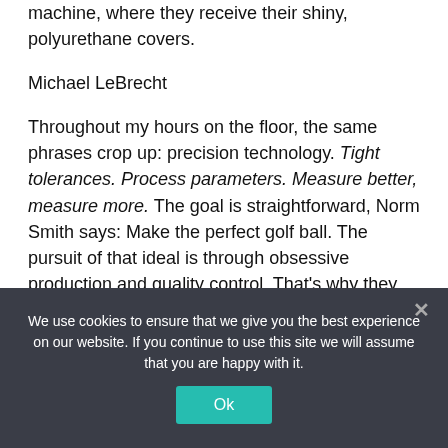machine, where they receive their shiny, polyurethane covers.
Michael LeBrecht
Throughout my hours on the floor, the same phrases crop up: precision technology. Tight tolerances. Process parameters. Measure better, measure more. The goal is straightforward, Norm Smith says: Make the perfect golf ball. The pursuit of that ideal is through obsessive production and quality control. That's why they collect millions of data points every day, testing for temperature, size, offset, composition, coefficient of
We use cookies to ensure that we give you the best experience on our website. If you continue to use this site we will assume that you are happy with it.